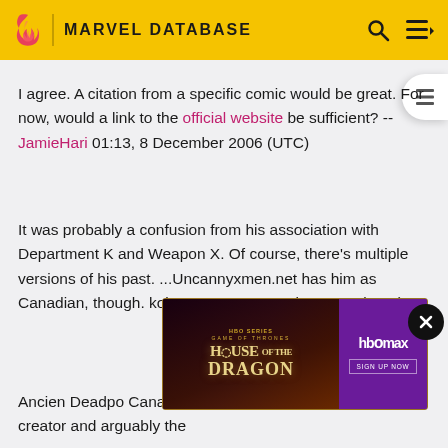MARVEL DATABASE
I agree. A citation from a specific comic would be great. For now, would a link to the official website be sufficient? --JamieHari 01:13, 8 December 2006 (UTC)
It was probably a confusion from his association with Department K and Weapon X. Of course, there's multiple versions of his past. ...Uncannyxmen.net has him as Canadian, though. koku 03:01, 8 December 2006 (UTC)
[Figure (screenshot): HBO Max advertisement for Game of Thrones: House of the Dragon with Sign Up Now button]
Ancient...Deadpo...Canadian...feld, and written by Joe Kelly (his creator and arguably the